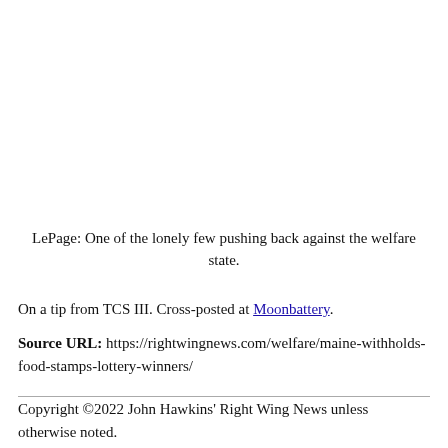LePage: One of the lonely few pushing back against the welfare state.
On a tip from TCS III. Cross-posted at Moonbattery.
Source URL: https://rightwingnews.com/welfare/maine-withholds-food-stamps-lottery-winners/
Copyright ©2022 John Hawkins' Right Wing News unless otherwise noted.